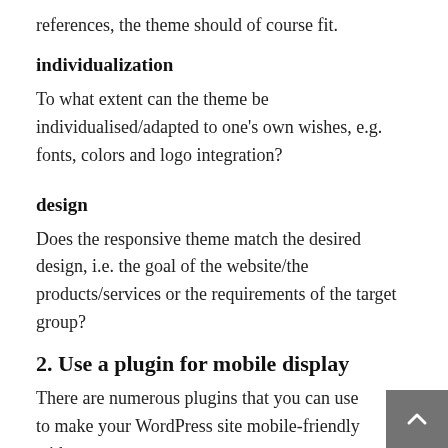references, the theme should of course fit.
individualization
To what extent can the theme be individualised/adapted to one's own wishes, e.g. fonts, colors and logo integration?
design
Does the responsive theme match the desired design, i.e. the goal of the website/the products/services or the requirements of the target group?
2. Use a plugin for mobile display
There are numerous plugins that you can use to make your WordPress site mobile-friendly with